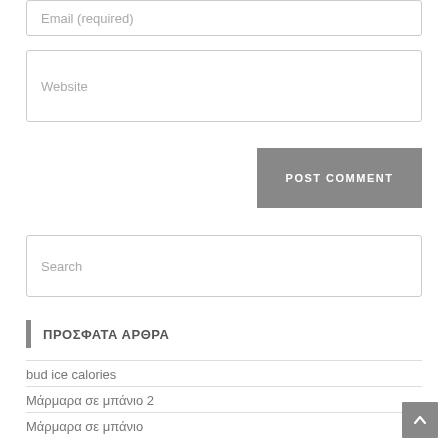Email (required)
Website
POST COMMENT
Search
ΠΡΟΣΦΑΤΑ ΑΡΘΡΑ
bud ice calories
Μάρμαρα σε μπάνιο 2
Μάρμαρα σε μπάνιο
Καλημέρα κόσμε!